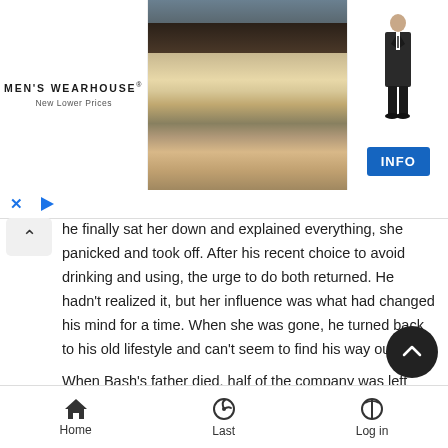[Figure (screenshot): Men's Wearhouse advertisement banner with photo of couple in formal wear and a suit figure, with INFO button]
he finally sat her down and explained everything, she panicked and took off. After his recent choice to avoid drinking and using, the urge to do both returned. He hadn't realized it, but her influence was what had changed his mind for a time. When she was gone, he turned back to his old lifestyle and can't seem to find his way out of it.
When Bash's father died, half of the company was left in his control, while his cousin took over for Bash's retiring Uncle. So they came into their positions at the same time and it's been six months since their first day as the joint shareholders and thus bosses of the company. Based upon Sebastian's t... with his father, he's certain that the man didn't believe in him. He's sure th... father didn't think he was fit for the job, so Bash fell further into the web he had
Home    Last    Log in